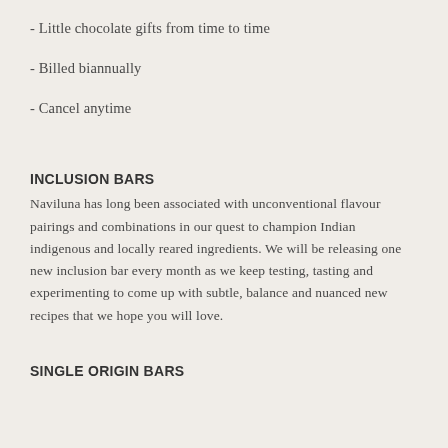- Little chocolate gifts from time to time
- Billed biannually
- Cancel anytime
INCLUSION BARS
Naviluna has long been associated with unconventional flavour pairings and combinations in our quest to champion Indian indigenous and locally reared ingredients. We will be releasing one new inclusion bar every month as we keep testing, tasting and experimenting to come up with subtle, balance and nuanced new recipes that we hope you will love.
SINGLE ORIGIN BARS